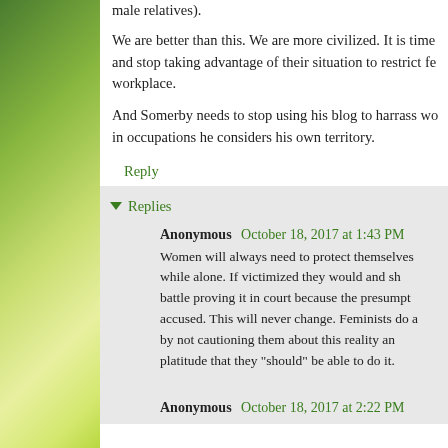male relatives).
We are better than this. We are more civilized. It is time and stop taking advantage of their situation to restrict fe workplace.
And Somerby needs to stop using his blog to harrass wo in occupations he considers his own territory.
Reply
Replies
Anonymous  October 18, 2017 at 1:43 PM
Women will always need to protect themselves while alone. If victimized they would and sh battle proving it in court because the presumpt accused. This will never change. Feminists do a by not cautioning them about this reality an platitude that they "should" be able to do it.
Anonymous  October 18, 2017 at 2:22 PM